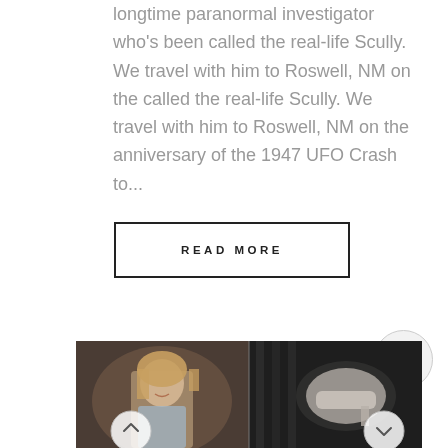longtime paranormal investigator who's been called the real-life Scully. We travel with him to Roswell, NM on the called the real-life Scully. We travel with him to Roswell, NM on the anniversary of the 1947 UFO Crash to...
READ MORE
[Figure (photo): Photo strip showing a smiling young woman with blonde hair on the left side, and a white shoe/boot display on the right side, against a dark background. Two circular arrow navigation buttons are overlaid at the bottom.]